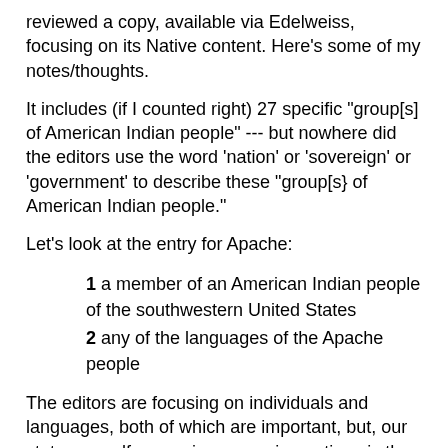reviewed a copy, available via Edelweiss, focusing on its Native content. Here's some of my notes/thoughts.
It includes (if I counted right) 27 specific "group[s] of American Indian people" --- but nowhere did the editors use the word 'nation' or 'sovereign' or 'government' to describe these "group[s} of American Indian people."
Let's look at the entry for Apache:
1 a member of an American Indian people of the southwestern United States
2 any of the languages of the Apache people
The editors are focusing on individuals and languages, both of which are important, but, our status as self-governing sovereign nations is the single most important fact about who we are.
As some of you know, there are several Apache nations. If you go to the National Congress of American Indians directory, you can enter Apache into the "Search by